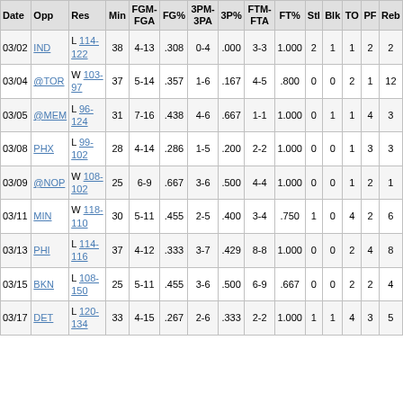| Date | Opp | Res | Min | FGM-FGA | FG% | 3PM-3PA | 3P% | FTM-FTA | FT% | Stl | Blk | TO | PF | Reb |
| --- | --- | --- | --- | --- | --- | --- | --- | --- | --- | --- | --- | --- | --- | --- |
| 03/02 | IND | L 114-122 | 38 | 4-13 | .308 | 0-4 | .000 | 3-3 | 1.000 | 2 | 1 | 1 | 2 | 2 |
| 03/04 | @TOR | W 103-97 | 37 | 5-14 | .357 | 1-6 | .167 | 4-5 | .800 | 0 | 0 | 2 | 1 | 12 |
| 03/05 | @MEM | L 96-124 | 31 | 7-16 | .438 | 4-6 | .667 | 1-1 | 1.000 | 0 | 1 | 1 | 4 | 3 |
| 03/08 | PHX | L 99-102 | 28 | 4-14 | .286 | 1-5 | .200 | 2-2 | 1.000 | 0 | 0 | 1 | 3 | 3 |
| 03/09 | @NOP | W 108-102 | 25 | 6-9 | .667 | 3-6 | .500 | 4-4 | 1.000 | 0 | 0 | 1 | 2 | 1 |
| 03/11 | MIN | W 118-110 | 30 | 5-11 | .455 | 2-5 | .400 | 3-4 | .750 | 1 | 0 | 4 | 2 | 6 |
| 03/13 | PHI | L 114-116 | 37 | 4-12 | .333 | 3-7 | .429 | 8-8 | 1.000 | 0 | 0 | 2 | 4 | 8 |
| 03/15 | BKN | L 108-150 | 25 | 5-11 | .455 | 3-6 | .500 | 6-9 | .667 | 0 | 0 | 2 | 2 | 4 |
| 03/17 | DET | L 120-134 | 33 | 4-15 | .267 | 2-6 | .333 | 2-2 | 1.000 | 1 | 1 | 4 | 3 | 5 |